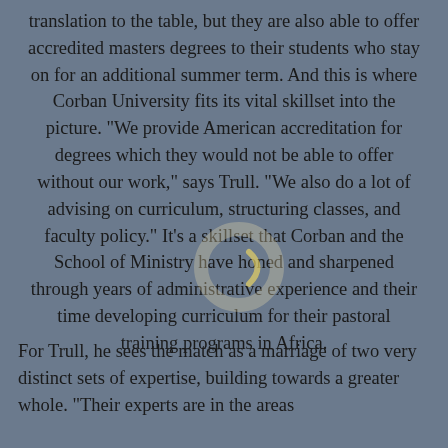translation to the table, but they are also able to offer accredited masters degrees to their students who stay on for an additional summer term. And this is where Corban University fits its vital skillset into the picture. “We provide American accreditation for degrees which they would not be able to offer without our work,” says Trull. “We also do a lot of advising on curriculum, structuring classes, and faculty policy.” It’s a skillset that Corban and the School of Ministry have honed and sharpened through years of administrative experience and their time developing curriculum for their pastoral training programs in Africa.
For Trull, he sees the match as a marriage of two very distinct sets of expertise, building towards a greater whole. “Their experts are in the areas